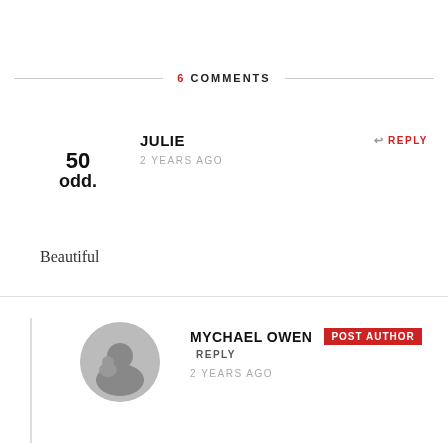6 COMMENTS
JULIE
2 YEARS AGO
REPLY
Beautiful
MYCHAEL OWEN POST AUTHOR REPLY
2 YEARS AGO
Thanks Julie.